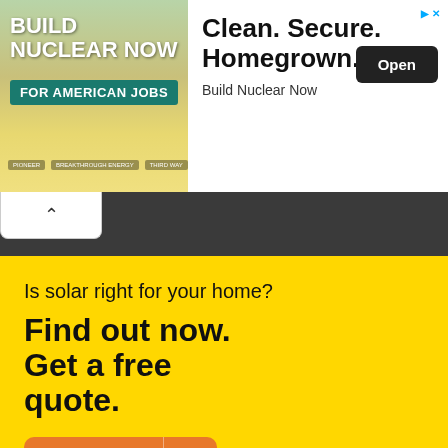[Figure (screenshot): Advertisement banner for 'Build Nuclear Now' with green/yellow background showing nuclear blueprint imagery, text 'BUILD NUCLEAR NOW FOR AMERICAN JOBS' with sponsor logos]
Clean. Secure. Homegrown.
Build Nuclear Now
Open
[Figure (screenshot): Dark grey navigation bar area of a mobile browser]
Is solar right for your home?
Find out now. Get a free quote.
Continue >